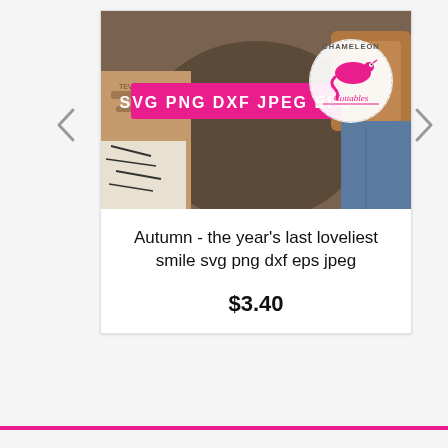[Figure (photo): Product listing image showing autumn-themed SVG cut file. Flat lay photo with a brown/olive shirt, sandals, zebra print fabric, jeans, and a tan bag. Pink banner overlay reads 'SVG PNG DXF JPEG EPS'. Chameleon Cuttables logo in top right corner (white circle with pink chameleon illustration).]
Autumn - the year's last loveliest smile svg png dxf eps jpeg
$3.40